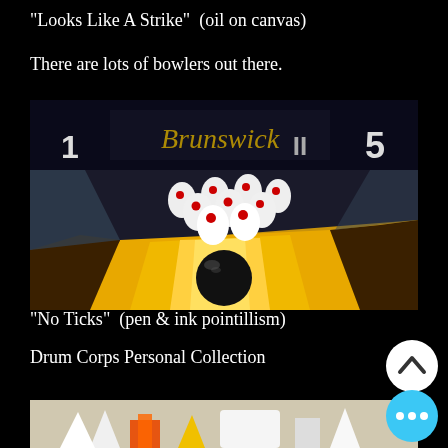"Looks Like A Strike"  (oil on canvas)
There are lots of bowlers out there.
[Figure (photo): Painting of bowling ball approaching bowling pins on a lane, Brunswick lane scoreboard visible at top, pins are white with red stripes, ball is black, lane is illuminated in yellow/gold]
"No Ticks"  (pen & ink pointillism)
Drum Corps Personal Collection
[Figure (photo): Partial view of a second artwork showing colorful objects, partially cut off at bottom of page]